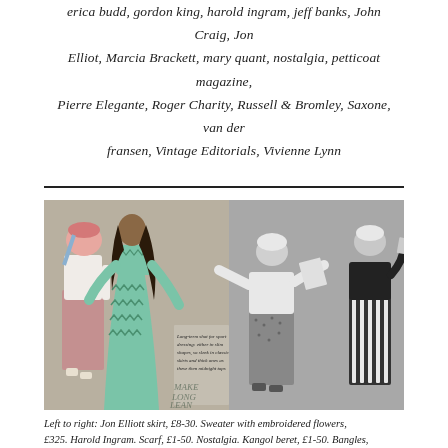erica budd, gordon king, harold ingram, jeff banks, John Craig, Jon Elliot, Marcia Brackett, mary quant, nostalgia, petticoat magazine, Pierre Elegante, Roger Charity, Russell & Bromley, Saxone, van der fransen, Vintage Editorials, Vivienne Lynn
[Figure (photo): Vintage fashion editorial collage showing four female models: left model in pink hat, white sweater and pink midi skirt; center-left model in teal/green zigzag patterned dress with dark long hair; right two models in black-and-white tones wearing sporty separates with white turbans, one holding a prop.]
Left to right: Jon Elliott skirt, £8-30. Sweater with embroidered flowers, £325. Harold Ingram. Scarf, £1-50. Nostalgia. Kangol beret, £1-50. Bangles,